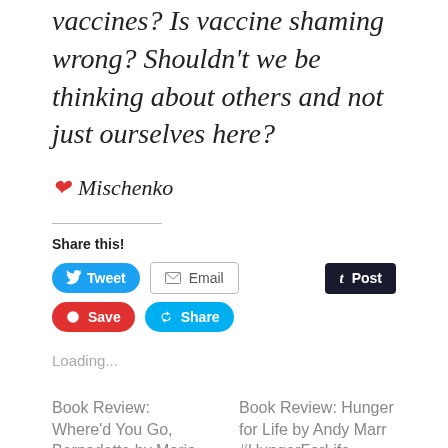vaccines? Is vaccine shaming wrong? Shouldn't we be thinking about others and not just ourselves here?
❤ Mischenko
Share this!
[Figure (other): Social sharing buttons: Tweet (Twitter), Email, Post (Tumblr), Save (Pinterest), Share (Skype)]
Loading...
Book Review: Where'd You Go, Bernadette by Maria Semple
Book Review: Hunger for Life by Andy Marr #HungerForLife